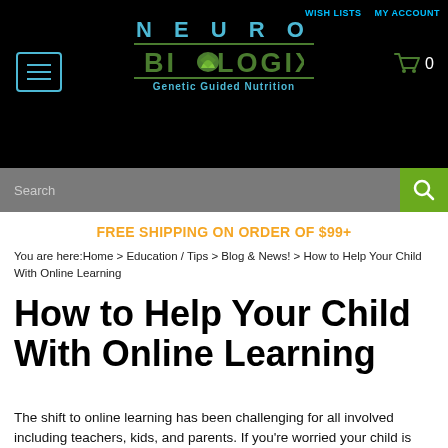[Figure (logo): Neuro Biologix logo with cyan and green lettering on black background, tagline Genetic Guided Nutrition]
WISH LISTS  MY ACCOUNT
Search
FREE SHIPPING ON ORDER OF $99+
You are here:Home > Education / Tips > Blog & News! > How to Help Your Child With Online Learning
How to Help Your Child With Online Learning
The shift to online learning has been challenging for all involved including teachers, kids, and parents. If you're worried your child is falling behind with online learning, we've got a few tips for how parents can help kids thrive